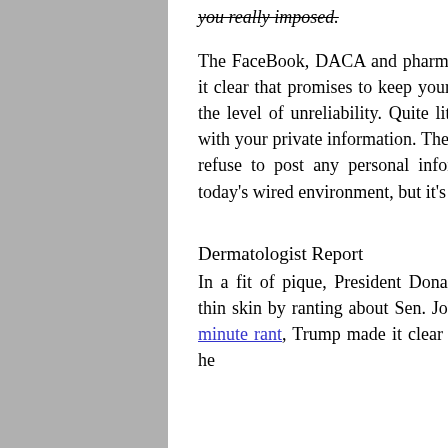you really imposed.
The FaceBook, DACA and pharma exposures of your information make it clear that promises to keep your information private don't rise even to the level of unreliability. Quite literally, no one is worthy of your trust with your private information. The only thing I see that can help you is to refuse to post any personal information. Not an easy thing to do in today's wired environment, but it's better than nothing. Maybe.
Dermatologist Report
In a fit of pique, President Donald Trump demonstrated his perilously thin skin by ranting about Sen. John McCain, who died in 2018. In a 5-minute rant, Trump made it clear that he resented Sen. McCain because he